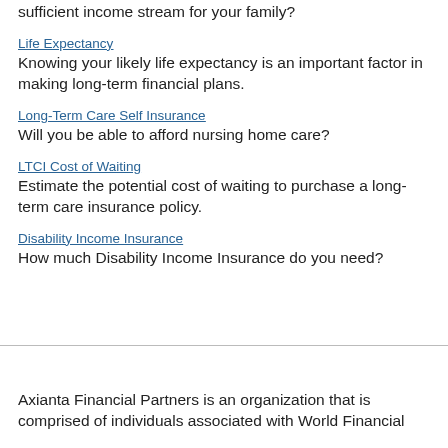How much life insurance would you need to produce a sufficient income stream for your family?
Life Expectancy
Knowing your likely life expectancy is an important factor in making long-term financial plans.
Long-Term Care Self Insurance
Will you be able to afford nursing home care?
LTCI Cost of Waiting
Estimate the potential cost of waiting to purchase a long-term care insurance policy.
Disability Income Insurance
How much Disability Income Insurance do you need?
Axianta Financial Partners is an organization that is comprised of individuals associated with World Financial